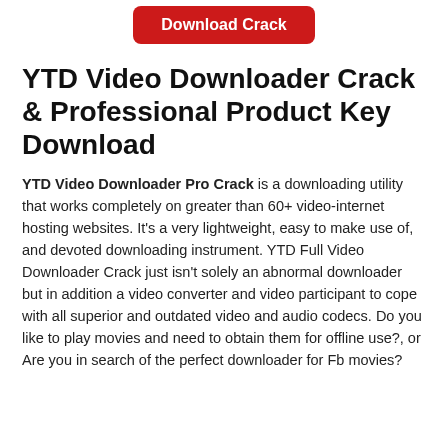[Figure (other): Red rounded button with white text reading 'Download Crack']
YTD Video Downloader Crack & Professional Product Key Download
YTD Video Downloader Pro Crack is a downloading utility that works completely on greater than 60+ video-internet hosting websites. It's a very lightweight, easy to make use of, and devoted downloading instrument. YTD Full Video Downloader Crack just isn't solely an abnormal downloader but in addition a video converter and video participant to cope with all superior and outdated video and audio codecs. Do you like to play movies and need to obtain them for offline use?, or Are you in search of the perfect downloader for Fb movies?